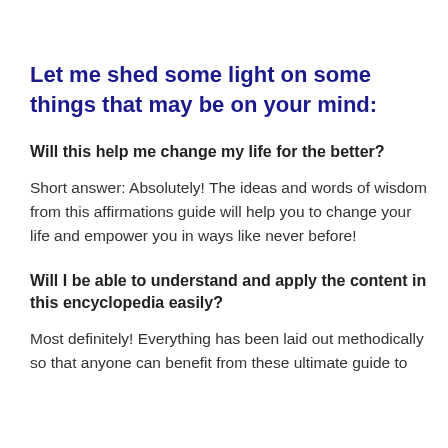Let me shed some light on some things that may be on your mind:
Will this help me change my life for the better?
Short answer: Absolutely! The ideas and words of wisdom from this affirmations guide will help you to change your life and empower you in ways like never before!
Will I be able to understand and apply the content in this encyclopedia easily?
Most definitely! Everything has been laid out methodically so that anyone can benefit from these ultimate guide to